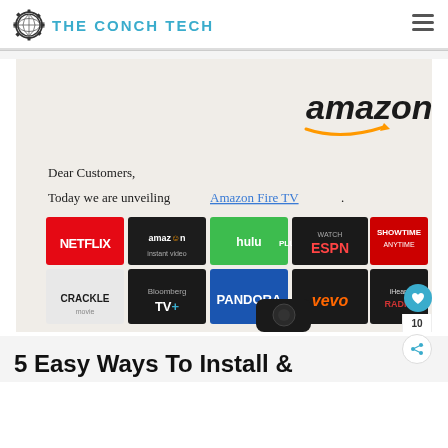THE CONCH TECH
[Figure (screenshot): Amazon Fire TV promotional image showing streaming service logos including Netflix, Amazon Instant Video, Hulu Plus, Watch ESPN, Showtime Anytime, Crackle, Bloomberg TV+, Pandora, Vevo, iHeart Radio, with a letter text saying 'Dear Customers, Today we are unveiling Amazon Fire TV.' and a remote control at the bottom.]
5 Easy Ways To Install &